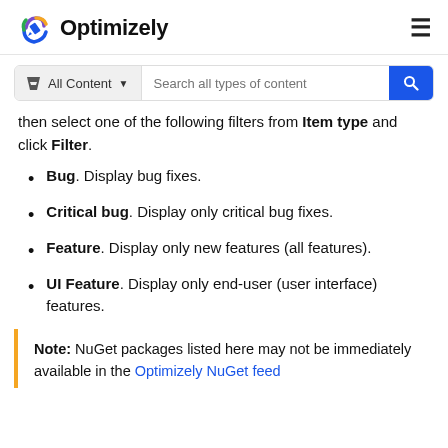Optimizely
[Figure (screenshot): Search bar with 'All Content' filter dropdown and 'Search all types of content' placeholder, with blue search button]
then select one of the following filters from Item type and click Filter.
Bug. Display bug fixes.
Critical bug. Display only critical bug fixes.
Feature. Display only new features (all features).
UI Feature. Display only end-user (user interface) features.
Note: NuGet packages listed here may not be immediately available in the Optimizely NuGet feed